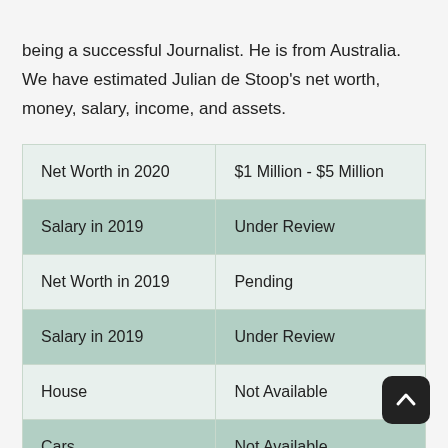being a successful Journalist. He is from Australia. We have estimated Julian de Stoop's net worth, money, salary, income, and assets.
| Net Worth in 2020 | $1 Million - $5 Million |
| Salary in 2019 | Under Review |
| Net Worth in 2019 | Pending |
| Salary in 2019 | Under Review |
| House | Not Available |
| Cars | Not Available |
| Source of Income | Journalist |